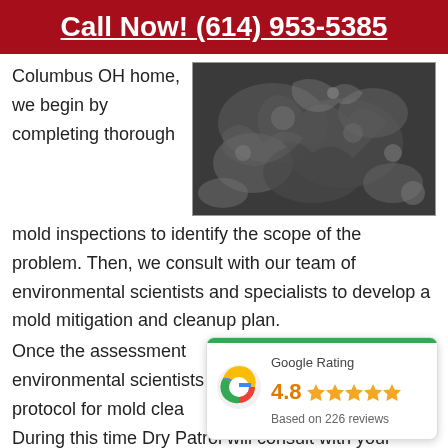Call Now! (614) 953-5385
Columbus OH home, we begin by completing thorough mold inspections to identify the scope of the problem. Then, we consult with our team of environmental scientists and specialists to develop a mold mitigation and cleanup plan.
[Figure (photo): Close-up photo of mold growth, dark grey/black mold spores and fungal structures]
Once the assessment environmental scientists protocol for mold clea During this time Dry Patrol will consult with your
[Figure (infographic): Google Rating card showing 4.8 stars based on 226 reviews]